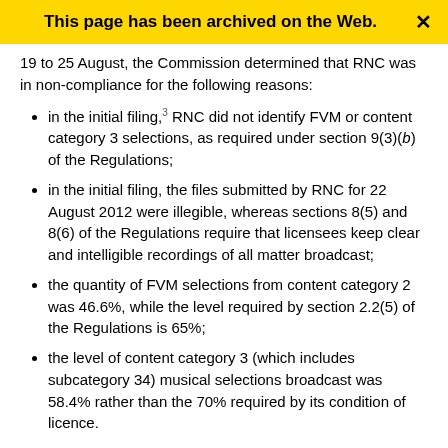This page has been archived on the Web.
19 to 25 August, the Commission determined that RNC was in non-compliance for the following reasons:
in the initial filing,³ RNC did not identify FVM or content category 3 selections, as required under section 9(3)(b) of the Regulations;
in the initial filing, the files submitted by RNC for 22 August 2012 were illegible, whereas sections 8(5) and 8(6) of the Regulations require that licensees keep clear and intelligible recordings of all matter broadcast;
the quantity of FVM selections from content category 2 was 46.6%, while the level required by section 2.2(5) of the Regulations is 65%;
the level of content category 3 (which includes subcategory 34) musical selections broadcast was 58.4% rather than the 70% required by its condition of licence.